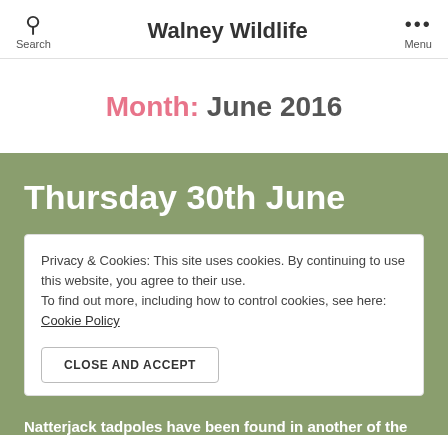Search | Walney Wildlife | Menu
Month: June 2016
Thursday 30th June
Privacy & Cookies: This site uses cookies. By continuing to use this website, you agree to their use. To find out more, including how to control cookies, see here: Cookie Policy
CLOSE AND ACCEPT
Natterjack tadpoles have been found in another of the